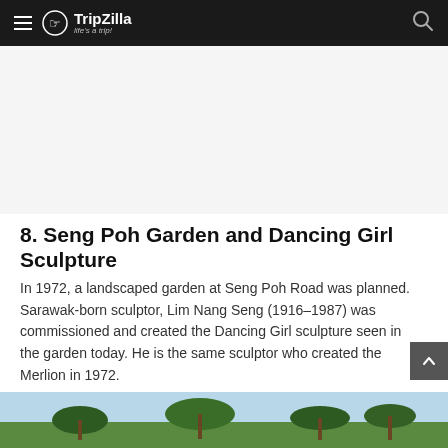TripZilla - life's a trip!
[Figure (other): Advertisement banner space (white/grey blank area)]
8. Seng Poh Garden and Dancing Girl Sculpture
In 1972, a landscaped garden at Seng Poh Road was planned. Sarawak-born sculptor, Lim Nang Seng (1916–1987) was commissioned and created the Dancing Girl sculpture seen in the garden today. He is the same sculptor who created the Merlion in 1972.
[Figure (photo): Partial photo of a garden with palm trees and sky visible at the bottom of the page]